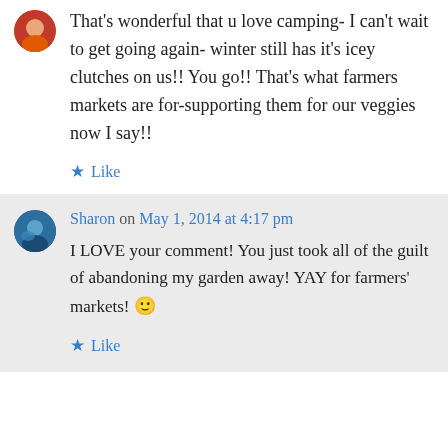[Figure (photo): Small circular avatar image of first commenter, colorful]
That's wonderful that u love camping- I can't wait to get going again- winter still has it's icey clutches on us!! You go!! That's what farmers markets are for-supporting them for our veggies now I say!!
★ Like
[Figure (photo): Small circular avatar image of Sharon, blue tones]
Sharon on May 1, 2014 at 4:17 pm
I LOVE your comment! You just took all of the guilt of abandoning my garden away! YAY for farmers' markets! 🙂
★ Like